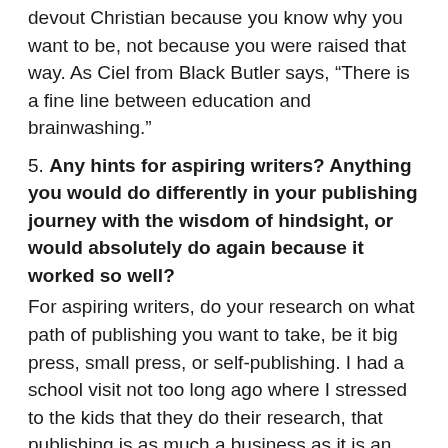devout Christian because you know why you want to be, not because you were raised that way. As Ciel from Black Butler says, “There is a fine line between education and brainwashing.”
5. Any hints for aspiring writers? Anything you would do differently in your publishing journey with the wisdom of hindsight, or would absolutely do again because it worked so well?
For aspiring writers, do your research on what path of publishing you want to take, be it big press, small press, or self-publishing. I had a school visit not too long ago where I stressed to the kids that they do their research, that publishing is as much a business as it is an art. I hope they took something away from that.
I wouldn’t do anything different, really. I suppose I would have just done a lot more research so that way I could realize that whether or not you have marketing behind